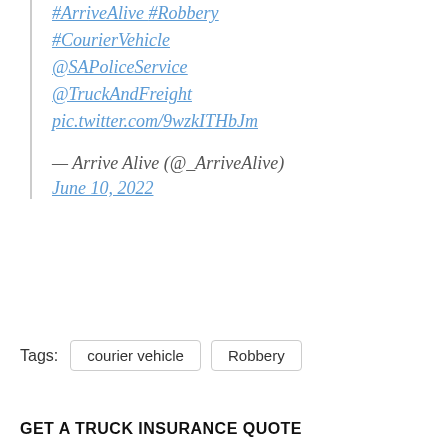#ArriveAlive #Robbery #CourierVehicle @SAPoliceService @TruckAndFreight pic.twitter.com/9wzkITHbJm
— Arrive Alive (@_ArriveAlive) June 10, 2022
Tags: courier vehicle  Robbery
GET A TRUCK INSURANCE QUOTE